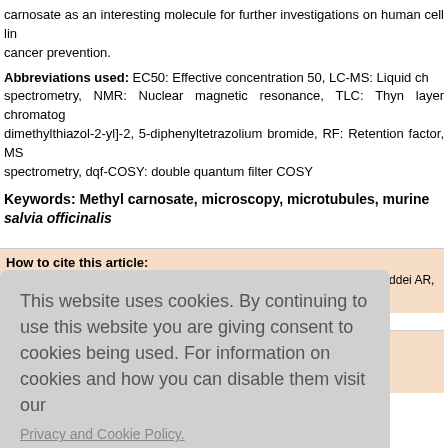carnosate as an interesting molecule for further investigations on human cell line for cancer prevention.
Abbreviations used: EC50: Effective concentration 50, LC-MS: Liquid chromatography mass spectrometry, NMR: Nuclear magnetic resonance, TLC: Thyn layer chromatography, MTT: [3-(4,5-dimethylthiazol-2-yl]-2, 5-diphenyltetrazolium bromide, RF: Retention factor, MS: Mass spectrometry, dqf-COSY: double quantum filter COSY
Keywords: Methyl carnosate, microscopy, microtubules, murine ... salvia officinalis
How to cite this article:
Ovidi E, Triggiani D, Valeri M, Mastrogiovanni F, Salvini L, Bonechi C, Taddei AR, M ... ells. Phcog
This website uses cookies. By continuing to use this website you are giving consent to cookies being used. For information on cookies and how you can disable them visit our
Privacy and Cookie Policy.
AGREE & PROCEED
Taddei AR, M ... ells. Phcog
ww.phcog.c